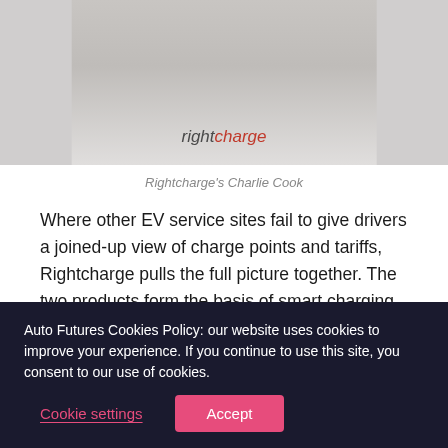[Figure (photo): Partial photo of a person wearing a light grey t-shirt with 'rightcharge' text/logo on it, cropped to show torso area]
Rightcharge's Charlie Cook
Where other EV service sites fail to give drivers a joined-up view of charge points and tariffs, Rightcharge pulls the full picture together. The two products form the basis of smart charging, reducing bills by hundreds of pounds and cutting carbon emissions by 25%. However, having one without the other is like a lock without a key.
Auto Futures Cookies Policy: our website uses cookies to improve your experience. If you continue to use this site, you consent to our use of cookies.